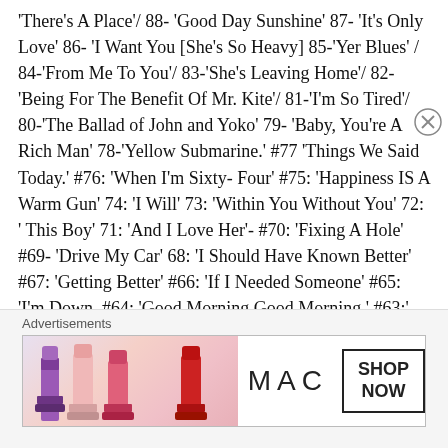'There's A Place'/ 88- 'Good Day Sunshine' 87- 'It's Only Love' 86- 'I Want You [She's So Heavy] 85-'Yer Blues' / 84-'From Me To You'/ 83-'She's Leaving Home'/ 82-'Being For The Benefit Of Mr. Kite'/ 81-'I'm So Tired'/ 80-'The Ballad of John and Yoko' 79- 'Baby, You're A Rich Man' 78-'Yellow Submarine.' #77 'Things We Said Today.' #76: 'When I'm Sixty- Four' #75: 'Happiness IS A Warm Gun' 74: 'I Will' 73: 'Within You Without You' 72: ' This Boy' 71: 'And I Love Her'- #70: 'Fixing A Hole' #69- 'Drive My Car' 68: 'I Should Have Known Better' #67: 'Getting Better' #66: 'If I Needed Someone' #65: 'I'm Down, #64: 'Good Morning Good Morning.' #63:' Hey Bulldog' #62: 'The Long And Winding Road' #61:' The Fool On The Hill' #60: 'Get
Advertisements
[Figure (illustration): MAC cosmetics advertisement banner showing lipsticks in purple, pink and red shades on left, MAC logo in center, and a 'SHOP NOW' box on right]